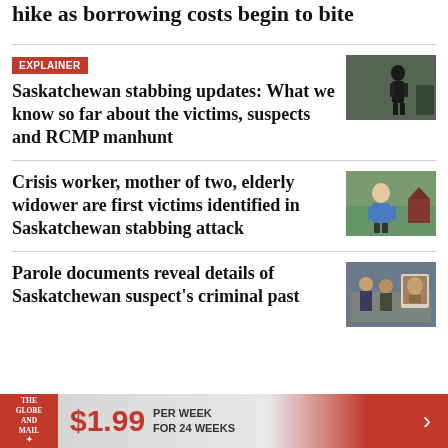hike as borrowing costs begin to bite
EXPLAINER
Saskatchewan stabbing updates: What we know so far about the victims, suspects and RCMP manhunt
[Figure (photo): Person in dark clothing outdoors, news photo]
Crisis worker, mother of two, elderly widower are first victims identified in Saskatchewan stabbing attack
[Figure (photo): Man in blue shirt outdoors, news photo]
Parole documents reveal details of Saskatchewan suspect's criminal past
[Figure (photo): News conference with photos of suspect displayed]
THE GLOBE AND MAIL  $1.99 PER WEEK FOR 24 WEEKS